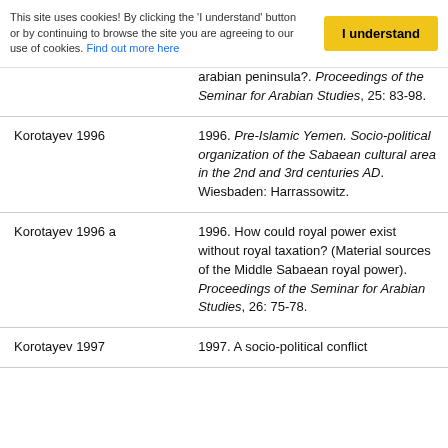This site uses cookies! By clicking the 'I understand' button or by continuing to browse the site you are agreeing to our use of cookies. Find out more here
I understand
|  | arabian peninsula?. Proceedings of the Seminar for Arabian Studies, 25: 83-98. |
| Korotayev 1996 | 1996. Pre-Islamic Yemen. Socio-political organization of the Sabaean cultural area in the 2nd and 3rd centuries AD. Wiesbaden: Harrassowitz. |
| Korotayev 1996 a | 1996. How could royal power exist without royal taxation? (Material sources of the Middle Sabaean royal power). Proceedings of the Seminar for Arabian Studies, 26: 75-78. |
| Korotayev 1997 | 1997. A socio-political conflict |